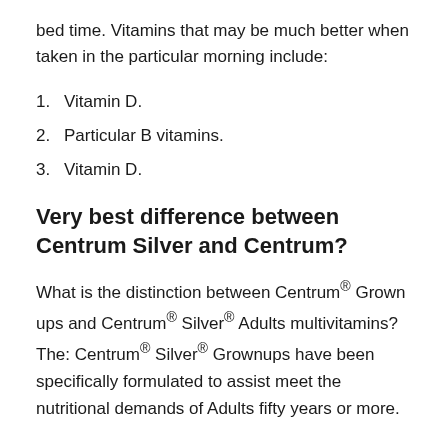bed time. Vitamins that may be much better when taken in the particular morning include:
1. Vitamin D.
2. Particular B vitamins.
3. Vitamin D.
Very best difference between Centrum Silver and Centrum?
What is the distinction between Centrum® Grown ups and Centrum® Silver® Adults multivitamins? The: Centrum® Silver® Grownups have been specifically formulated to assist meet the nutritional requirements of Adults fifty years or more.